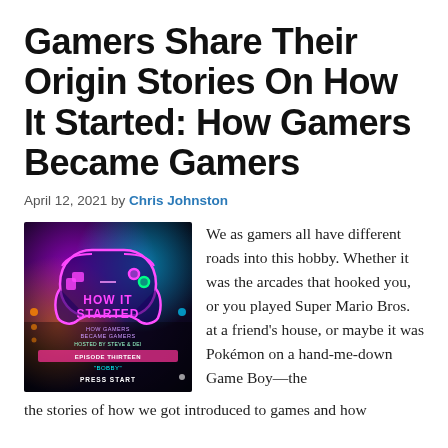Gamers Share Their Origin Stories On How It Started: How Gamers Became Gamers
April 12, 2021 by Chris Johnston
[Figure (photo): Podcast cover art for 'How It Started: How Gamers Became Gamers', hosted by Steve & Dei, Episode Thirteen 'Bobby', Press Start. Neon gaming controller graphic on dark background.]
We as gamers all have different roads into this hobby. Whether it was the arcades that hooked you, or you played Super Mario Bros. at a friend's house, or maybe it was Pokémon on a hand-me-down Game Boy—the
the stories of how we got introduced to games and how